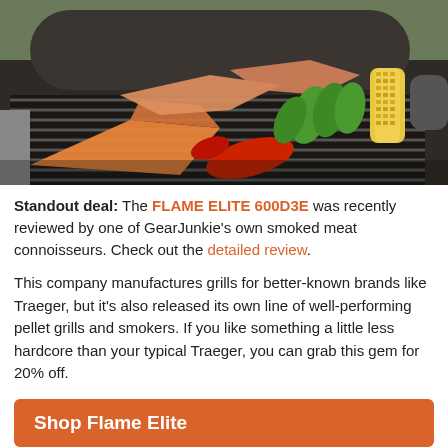[Figure (photo): A pellet grill with salmon fillets, corn on the cob, green peppers, and a red chili pepper cooking on the grill grates. The grill is dark metal with a rounded hood visible in the background.]
Standout deal: The FLAME ELITE 600D3E was recently reviewed by one of GearJunkie's own smoked meat connoisseurs. Check out the detailed review.
This company manufactures grills for better-known brands like Traeger, but it's also released its own line of well-performing pellet grills and smokers. If you like something a little less hardcore than your typical Traeger, you can grab this gem for 20% off.
Shop Flame Elite